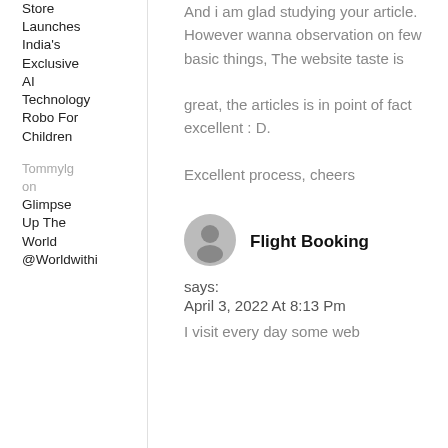Store Launches India's Exclusive AI Technology Robo For Children
Tommylg on Glimpse Up The World @Worldwithi
And i am glad studying your article. However wanna observation on few basic things, The website taste is great, the articles is in point of fact excellent : D. Excellent process, cheers
[Figure (illustration): User avatar icon - grey silhouette circle]
Flight Booking
says:
April 3, 2022 At 8:13 Pm
I visit every day some web